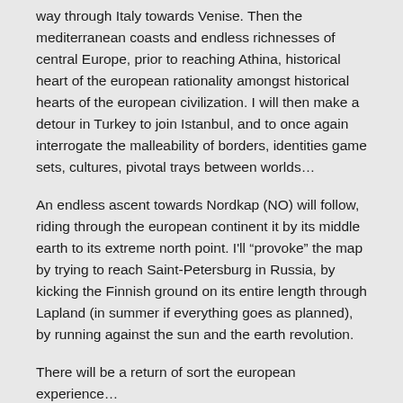way through Italy towards Venise. Then the mediterranean coasts and endless richnesses of central Europe, prior to reaching Athina, historical heart of the european rationality amongst historical hearts of the european civilization. I will then make a detour in Turkey to join Istanbul, and to once again interrogate the malleability of borders, identities game sets, cultures, pivotal trays between worlds...
An endless ascent towards Nordkap (NO) will follow, riding through the european continent it by its middle earth to its extreme north point. I'll “provoke” the map by trying to reach Saint-Petersburg in Russia, by kicking the Finnish ground on its entire length through Lapland (in summer if everything goes as planned), by running against the sun and the earth revolution.
There will be a return of sort the european experience...